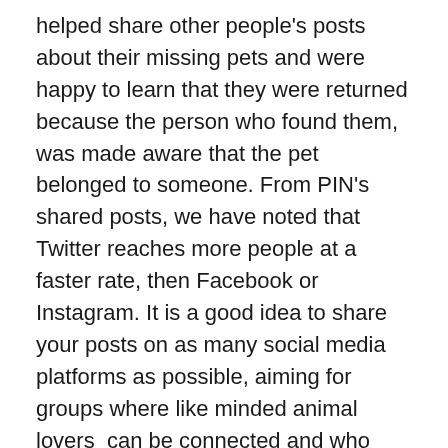helped share other people's posts about their missing pets and were happy to learn that they were returned because the person who found them, was made aware that the pet belonged to someone. From PIN's shared posts, we have noted that Twitter reaches more people at a faster rate, then Facebook or Instagram. It is a good idea to share your posts on as many social media platforms as possible, aiming for groups where like minded animal lovers  can be connected and who would be willing to help by searching for the missing pet or at least by sharing your post with their own contacts.
Unfortunately for every happy ending there is also sad one. Not all missing pets are returned. Whether it is because whomever finds them do not know whom the pet belongs to, nor how or where to return them, or because the animals end up as a victim of a car accident...